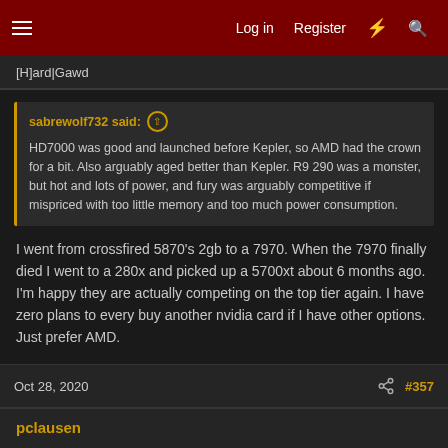Log in | Register
[H]ard|Gawd
sabrewolf732 said: ↑
HD7000 was good and launched before Kepler, so AMD had the crown for a bit. Also arguably aged better than Kepler. R9 290 was a monster, but hot and lots of power, and fury was arguably competitive if mispriced with too little memory and too much power consumption.
I went from crossfired 5870's 2gb to a 7970. When the 7970 finally died I went to a 280x and picked up a 5700xt about 6 months ago. I'm happy they are actually competing on the top tier again. I have zero plans to every buy another nvidia card if I have other options. Just prefer AMD.
Oct 28, 2020   #357
pclausen